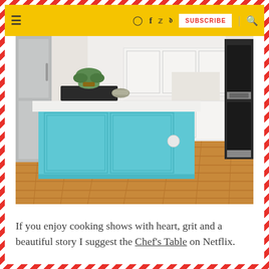≡  [Instagram] [Facebook] [Twitter] [Pinterest]  SUBSCRIBE  | [Search]
[Figure (photo): Kitchen with a light blue island featuring white countertop and a white round knob, white cabinetry in the background, stainless steel refrigerator on the left, double wall oven on the right, and warm wood plank flooring throughout.]
If you enjoy cooking shows with heart, grit and a beautiful story I suggest the Chef's Table on Netflix.